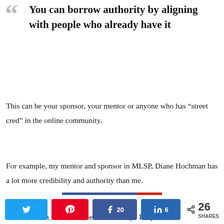You can borrow authority by aligning with people who already have it
This can be your sponsor, your mentor or anyone who has “street cred” in the online community.
For example, my mentor and sponsor in MLSP, Diane Hochman has a lot more credibility and authority than me.
I’m no slouch when it comes to authority.  People are
Share buttons: Twitter, Pinterest, Facebook 20, LinkedIn 6 | 26 SHARES